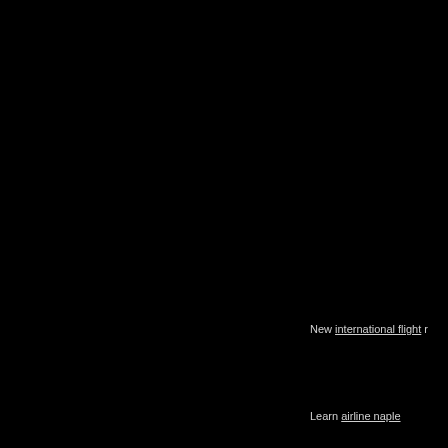New international flight r
Learn airline naple